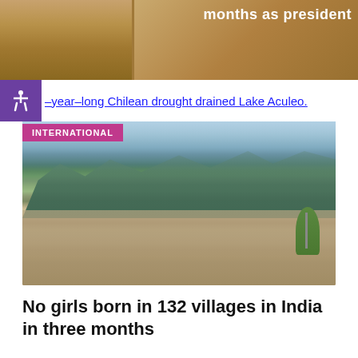[Figure (photo): Partially visible photo of an ornate room interior with decorative ceiling/molding in golden/brown tones]
months as president
-year-long Chilean drought drained Lake Aculeo.
INTERNATIONAL
[Figure (photo): Aerial/elevated view of an Indian town with buildings and green foliage in foreground and mountain range in background under hazy sky]
No girls born in 132 villages in India in three months